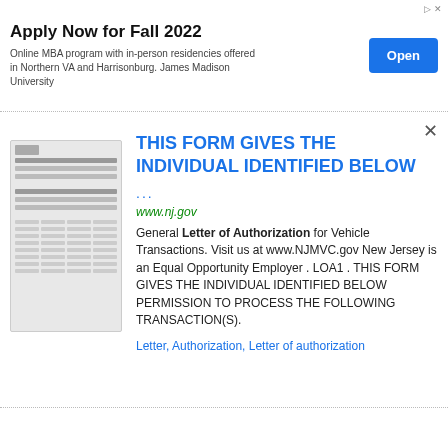Apply Now for Fall 2022
Online MBA program with in-person residencies offered in Northern VA and Harrisonburg. James Madison University
THIS FORM GIVES THE INDIVIDUAL IDENTIFIED BELOW
...
www.nj.gov
General Letter of Authorization for Vehicle Transactions. Visit us at www.NJMVC.gov New Jersey is an Equal Opportunity Employer . LOA1 . THIS FORM GIVES THE INDIVIDUAL IDENTIFIED BELOW PERMISSION TO PROCESS THE FOLLOWING TRANSACTION(S).
Letter, Authorization, Letter of authorization